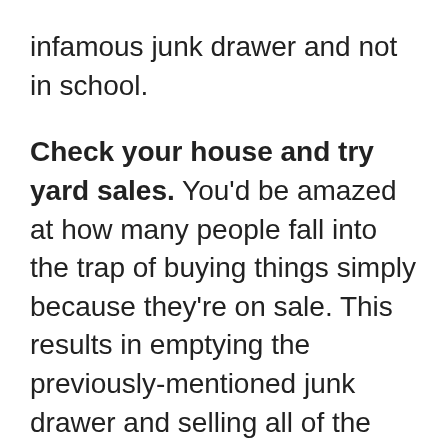infamous junk drawer and not in school.
Check your house and try yard sales. You'd be amazed at how many people fall into the trap of buying things simply because they're on sale. This results in emptying the previously-mentioned junk drawer and selling all of the brand new supplies that have never been used.
Coupons. Keep an eye out in your local ads and subscribe to the store's mailing list/emails. There are tons of coupons and savings opportunities that you will have